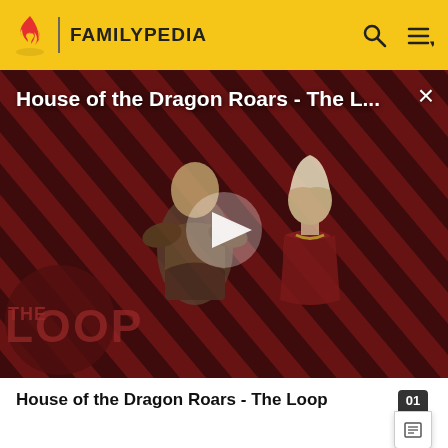FAMILYPEDIA
[Figure (screenshot): Video thumbnail for 'House of the Dragon Roars - The L...' showing two characters against a red and black diagonal stripe background with THE LOOP logo overlay and a play button in the center]
House of the Dragon Roars - The Loop
1950 and 1980: an oil refinery in Barauni, a motor scooter plant at Fatuha, and a power plant at Muzaffarpur. However, these were forced to shut down due to certain central government policies (like the Freight Settlement...